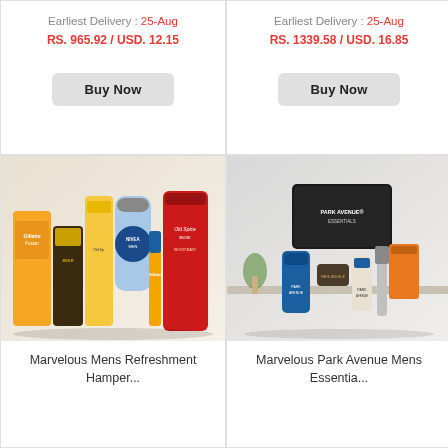Earliest Delivery : 25-Aug
RS. 965.92 / USD. 12.15
Buy Now
Earliest Delivery : 25-Aug
RS. 1339.58 / USD. 16.85
Buy Now
[Figure (photo): Marvelous Mens Refreshment Hamper product photo showing Gillette Fusion, Beer shampoo, Nivea Men, Old Spice Musk, Gillette Fusion razor and other grooming products]
Marvelous Mens Refreshment Hamper...
[Figure (photo): Marvelous Park Avenue Mens Essentia product photo showing Park Avenue Essentials kit with grooming products in a black bag]
Marvelous Park Avenue Mens Essentia...